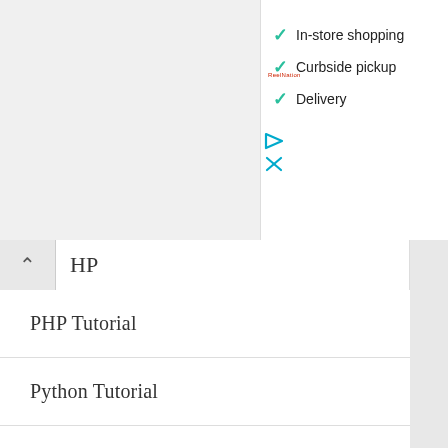[Figure (screenshot): Ad panel showing three checkmark items: In-store shopping, Curbside pickup, Delivery, with a small red advertiser label, blue play icon, and teal X icon]
✓ In-store shopping
✓ Curbside pickup
✓ Delivery
HP
PHP Tutorial
Python Tutorial
React Tutorial
REST API